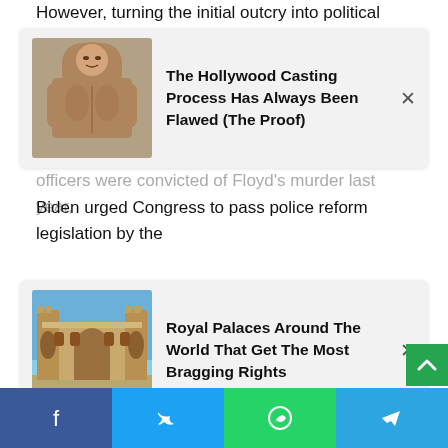However, turning the initial outcry into political change has
[Figure (infographic): Ad card with photo of a shirtless muscular man and title: The Hollywood Casting Process Has Always Been Flawed (The Proof)]
officers were convicted of Floyd's murder last year, Biden urged Congress to pass police reform legislation by the anniversary of his death.
[Figure (infographic): Ad card with photo of a large ornate palace building and title: Royal Palaces Around The World That Get The Most Bragging Rights]
verdict was 'not enough,' he said, 'we can't stop here.'
However, no law was passed and bipartisan talks dragged on and later collapsed.
The White House eventually decided to proceed with executive action rather than wait for Congress.